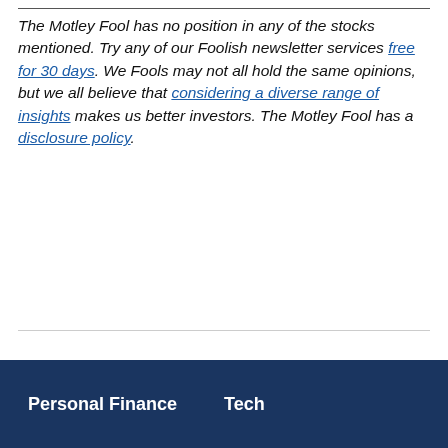The Motley Fool has no position in any of the stocks mentioned. Try any of our Foolish newsletter services free for 30 days. We Fools may not all hold the same opinions, but we all believe that considering a diverse range of insights makes us better investors. The Motley Fool has a disclosure policy.
Personal Finance    Tech